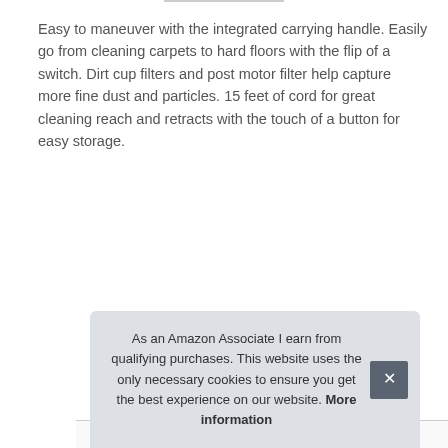Easy to maneuver with the integrated carrying handle. Easily go from cleaning carpets to hard floors with the flip of a switch. Dirt cup filters and post motor filter help capture more fine dust and particles. 15 feet of cord for great cleaning reach and retracts with the touch of a button for easy storage.
|  |  |
| --- | --- |
| Brand | Bissell #ad |
| Manufacturer | BISSELL HOMECARE INC. #ad |
| Height | 12 Inches |
| Length | 14 Inches |
| P |  |
As an Amazon Associate I earn from qualifying purchases. This website uses the only necessary cookies to ensure you get the best experience on our website. More information